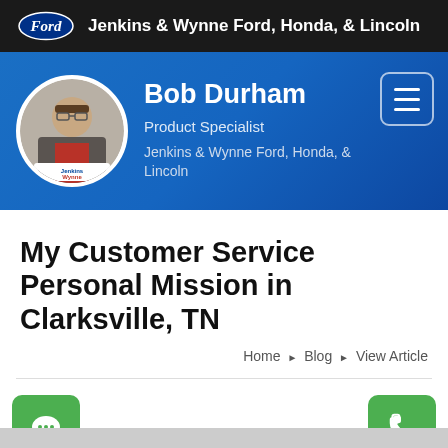Jenkins & Wynne Ford, Honda, & Lincoln
[Figure (photo): Profile banner for Bob Durham, Product Specialist at Jenkins & Wynne Ford, Honda, & Lincoln. Blue gradient background with circular profile photo showing a man in a vest. Hamburger menu icon in top right corner.]
My Customer Service Personal Mission in Clarksville, TN
Home ▶ Blog ▶ View Article
[Figure (other): Green chat bubble icon button on bottom left and green phone icon button on bottom right]